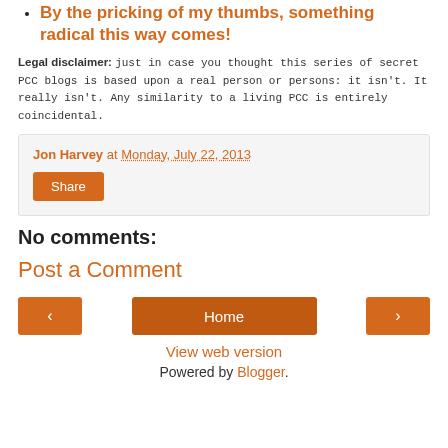By the pricking of my thumbs, something radical this way comes!
Legal disclaimer: just in case you thought this series of secret PCC blogs is based upon a real person or persons: it isn't. It really isn't. Any similarity to a living PCC is entirely coincidental.
Jon Harvey at Monday, July 22, 2013
Share
No comments:
Post a Comment
◄  Home  ►
View web version
Powered by Blogger.